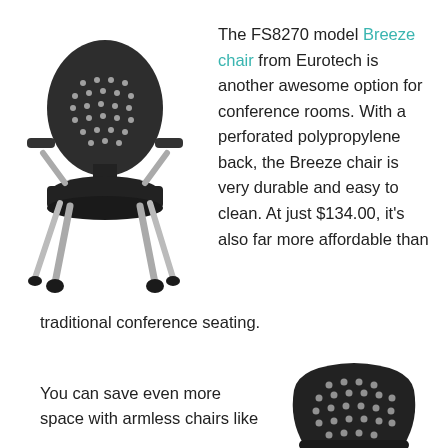[Figure (photo): Photo of FS8270 Breeze chair from Eurotech — dark/black perforated polypropylene back, padded black seat, silver metal frame with four legs with casters/wheels, and short armrests]
The FS8270 model Breeze chair from Eurotech is another awesome option for conference rooms. With a perforated polypropylene back, the Breeze chair is very durable and easy to clean. At just $134.00, it's also far more affordable than traditional conference seating.
You can save even more space with armless chairs like
[Figure (photo): Close-up photo of the back of a dark/black perforated polypropylene chair back, showing the distinctive rounded shape and white dot perforations]